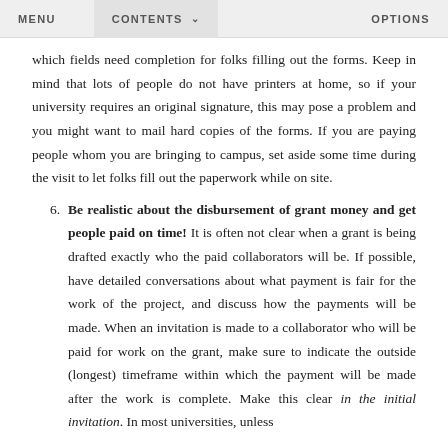MENU   CONTENTS   OPTIONS
which fields need completion for folks filling out the forms. Keep in mind that lots of people do not have printers at home, so if your university requires an original signature, this may pose a problem and you might want to mail hard copies of the forms. If you are paying people whom you are bringing to campus, set aside some time during the visit to let folks fill out the paperwork while on site.
6. Be realistic about the disbursement of grant money and get people paid on time! It is often not clear when a grant is being drafted exactly who the paid collaborators will be. If possible, have detailed conversations about what payment is fair for the work of the project, and discuss how the payments will be made. When an invitation is made to a collaborator who will be paid for work on the grant, make sure to indicate the outside (longest) timeframe within which the payment will be made after the work is complete. Make this clear in the initial invitation. In most universities, unless